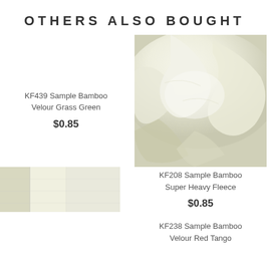OTHERS ALSO BOUGHT
KF439 Sample Bamboo Velour Grass Green
$0.85
[Figure (photo): Close-up photo of white/cream bamboo super heavy fleece fabric with soft draped folds]
KF208 Sample Bamboo Super Heavy Fleece
$0.85
[Figure (photo): Close-up photo of light fabric swatches showing cream and white tones, bamboo velour fabric sample]
KF238 Sample Bamboo Velour Red Tango